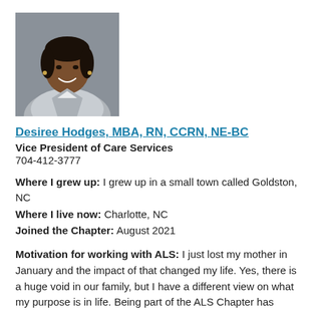[Figure (photo): Professional headshot of Desiree Hodges, a woman with dark hair wearing a grey blazer, smiling against a grey background]
Desiree Hodges, MBA, RN, CCRN, NE-BC
Vice President of Care Services
704-412-3777
Where I grew up: I grew up in a small town called Goldston, NC
Where I live now: Charlotte, NC
Joined the Chapter: August 2021
Motivation for working with ALS: I just lost my mother in January and the impact of that changed my life. Yes, there is a huge void in our family, but I have a different view on what my purpose is in life. Being part of the ALS Chapter has made me realize that I can use all of my skills, life experiences and my passion for nursing to make a difference in the lives of the organization and their…